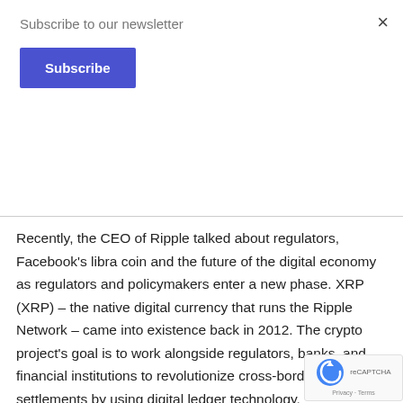Subscribe to our newsletter
Subscribe
Recently, the CEO of Ripple talked about regulators, Facebook's libra coin and the future of the digital economy as regulators and policymakers enter a new phase. XRP (XRP) – the native digital currency that runs the Ripple Network – came into existence back in 2012. The crypto project's goal is to work alongside regulators, banks, and financial institutions to revolutionize cross-border settlements by using digital ledger technology.
Facebook is about to make a debut into the crypto spa… social media giant recently released the whitepaper for… digital currency – Libra Coin. Facebook also announced a…